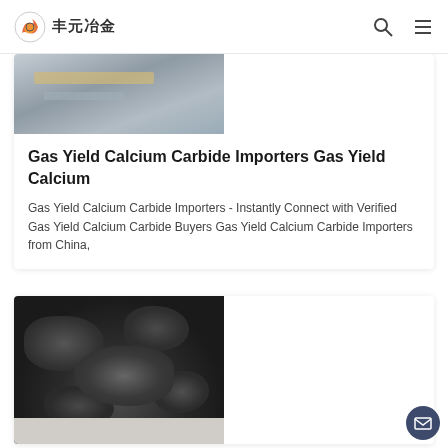丰元冶金
Gas Yield Calcium Carbide Importers Gas Yield Calcium
Gas Yield Calcium Carbide Importers - Instantly Connect with Verified Gas Yield Calcium Carbide Buyers Gas Yield Calcium Carbide Importers from China,
[Figure (photo): Photo of industrial machinery equipment]
[Figure (photo): Photo of dark calcium carbide rocks/gravel on white surface]